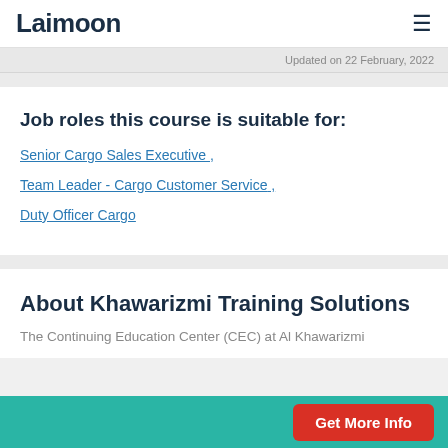Laimoon
Updated on 22 February, 2022
Job roles this course is suitable for:
Senior Cargo Sales Executive ,
Team Leader - Cargo Customer Service ,
Duty Officer Cargo
About Khawarizmi Training Solutions
The Continuing Education Center (CEC) at Al Khawarizmi
Get More Info